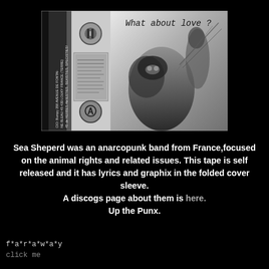[Figure (photo): Black and white photo of a cassette tape showing both sides: left side is the cassette spine with handwritten text reading 'CIO: Bumpy 358 AVENUE DE FONTAI- NE BLEAU 45 430 Louky FRANCE (TERRE) 45 de HERBES AMIESTIES, SEXISTIES, SPECISTIES!' and anarchist symbols, right side is the album cover with handwritten text 'What about love?' and a black and white photo of a dog with a person in the background.]
Sea Sheperd was an anarcopunk band from France,focused on the animal rights and related issues. This tape is self released and it has lyrics and graphix in the folded cover sleeve.
A discogs page about them is here.
Up the Punx.
f*a*r*a*w*a*y
click me